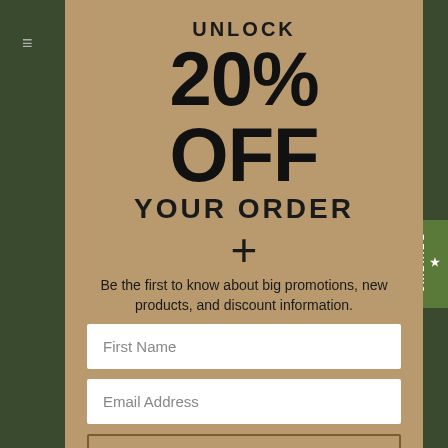UNLOCK
20% OFF
YOUR ORDER
+
Be the first to know about big promotions, new products, and discount information.
First Name
Email Address
Sign Me Up!
For new subscribers only.